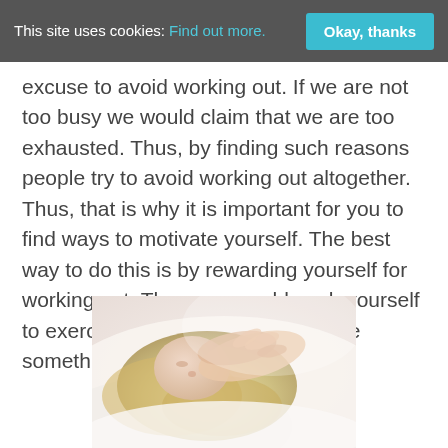This site uses cookies: Find out more. Okay, thanks
excuse to avoid working out. If we are not too busy we would claim that we are too exhausted. Thus, by finding such reasons people try to avoid working out altogether. Thus, that is why it is important for you to find ways to motivate yourself. The best way to do this is by rewarding yourself for working out. Then you would push yourself to exercise because you would have something to look forward to.
[Figure (photo): A person lying down with hands resting near their face and hair, soft white tones, relaxed pose suggesting rest or exhaustion.]